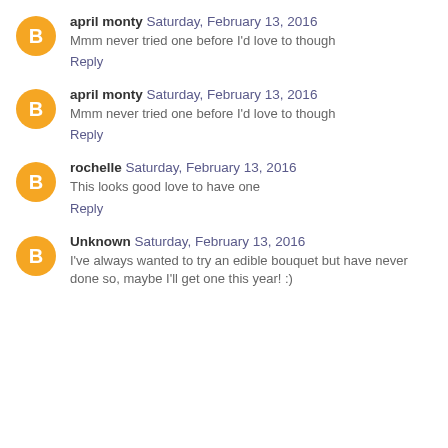april monty  Saturday, February 13, 2016
Mmm never tried one before I'd love to though
Reply
april monty  Saturday, February 13, 2016
Mmm never tried one before I'd love to though
Reply
rochelle  Saturday, February 13, 2016
This looks good love to have one
Reply
Unknown  Saturday, February 13, 2016
I've always wanted to try an edible bouquet but have never done so, maybe I'll get one this year! :)